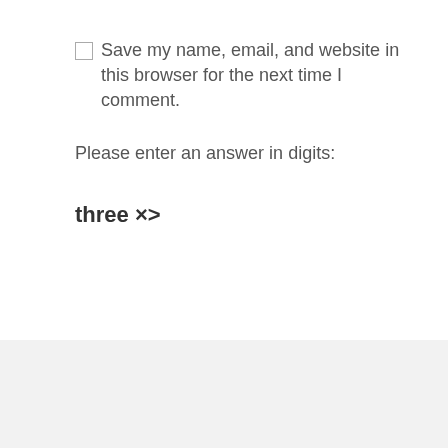☐ Save my name, email, and website in this browser for the next time I comment.
Please enter an answer in digits:
three × one =
SUBMIT
ABOUT